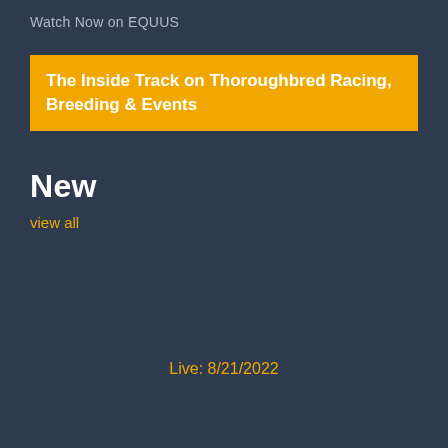Watch Now on EQUUS
The Inside Track on Thoroughbred Racing, Breeding & Events
New
view all
Live: 8/21/2022